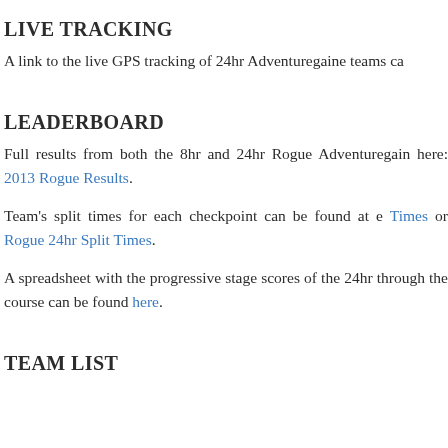LIVE TRACKING
A link to the live GPS tracking of 24hr Adventuregaine teams ca
LEADERBOARD
Full results from both the 8hr and 24hr Rogue Adventuregain here: 2013 Rogue Results.
Team's split times for each checkpoint can be found at e Times or Rogue 24hr Split Times.
A spreadsheet with the progressive stage scores of the 24hr through the course can be found here.
TEAM LIST